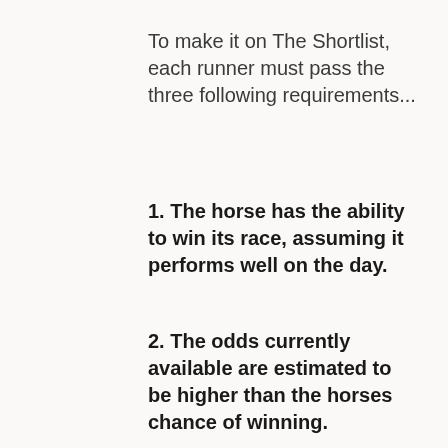To make it on The Shortlist, each runner must pass the three following requirements...
1. The horse has the ability to win its race, assuming it performs well on the day.
2. The odds currently available are estimated to be higher than the horses chance of winning.